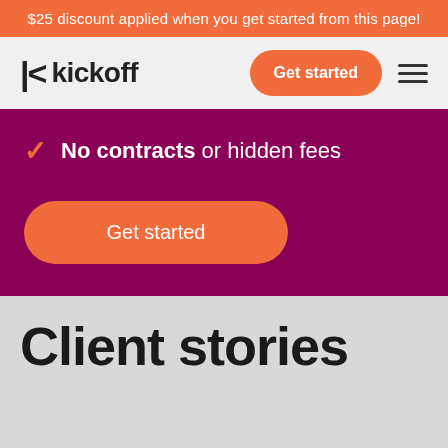$25 discount applied when you get started from this page!
[Figure (logo): Kickoff logo with stylized K icon and 'kickoff' wordmark in dark gray, with orange 'Get started' button and hamburger menu on the right]
No contracts or hidden fees
Get started
Client stories